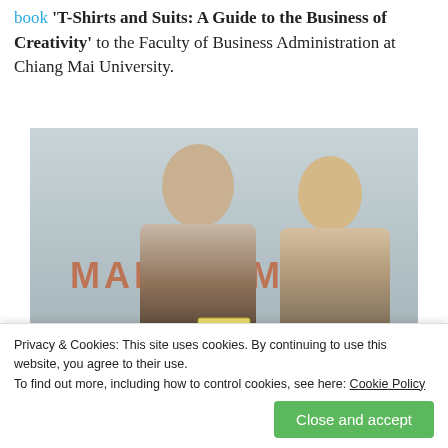book 'T-Shirts and Suits: A Guide to the Business of Creativity' to the Faculty of Business Administration at Chiang Mai University.
[Figure (photo): Two people standing in front of a wall with 'MANAGEMENT' text, holding a book titled 'T-Shirts and Suits: A Guide to the Business of Creativity'.]
Privacy & Cookies: This site uses cookies. By continuing to use this website, you agree to their use.
To find out more, including how to control cookies, see here: Cookie Policy
Close and accept